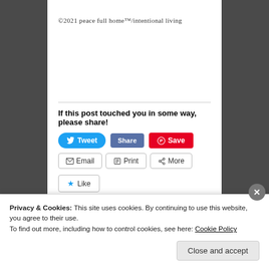©2021 peace full home™/intentional living
If this post touched you in some way, please share!
[Figure (screenshot): Social share buttons: Tweet (Twitter), Facebook Share, Pinterest Save, Email, Print, More]
[Figure (screenshot): Like button with star icon]
Privacy & Cookies: This site uses cookies. By continuing to use this website, you agree to their use.
To find out more, including how to control cookies, see here: Cookie Policy
Close and accept